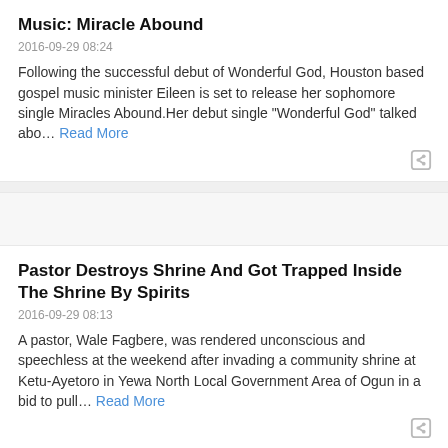Music: Miracle Abound
2016-09-29 08:24
Following the successful debut of Wonderful God, Houston based gospel music minister Eileen is set to release her sophomore single Miracles Abound.Her debut single "Wonderful God" talked abo… Read More
Pastor Destroys Shrine And Got Trapped Inside The Shrine By Spirits
2016-09-29 08:13
A pastor, Wale Fagbere, was rendered unconscious and speechless at the weekend after invading a community shrine at Ketu-Ayetoro in Yewa North Local Government Area of Ogun in a bid to pull… Read More
Daily Devotion: Be Anxious For Nothing